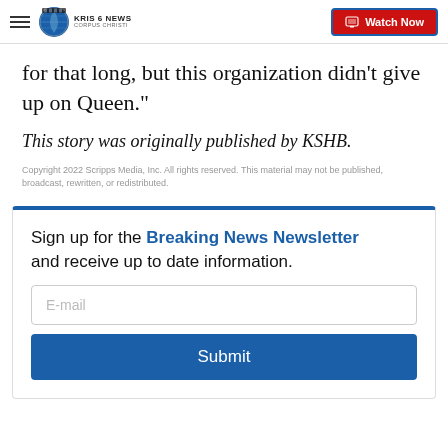KRIS 6 NEWS CORPUS CHRISTI | Watch Now
for that long, but this organization didn't give up on Queen."
This story was originally published by KSHB.
Copyright 2022 Scripps Media, Inc. All rights reserved. This material may not be published, broadcast, rewritten, or redistributed.
Sign up for the Breaking News Newsletter and receive up to date information.